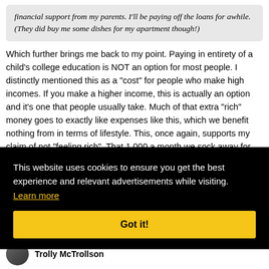financial support from my parents. I'll be paying off the loans for awhile. (They did buy me some dishes for my apartment though!)
Which further brings me back to my point. Paying in entirety of a child's college education is NOT an option for most people. I distinctly mentioned this as a "cost" for people who make high incomes. If you make a higher income, this is actually an option and it's one that people usually take. Much of that extra "rich" money goes to exactly like expenses like this, which we benefit nothing from in terms of lifestyle. This, once again, supports my claim of not "feeling rich". That 1,000 a month we sock away for her education
eant
This website uses cookies to ensure you get the best experience and relevant advertisements while visiting. Learn more
Got it!
#1892
Trolly McTrollson